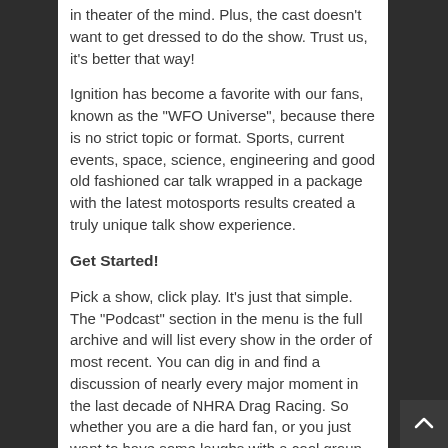in theater of the mind. Plus, the cast doesn't want to get dressed to do the show. Trust us, it's better that way!
Ignition has become a favorite with our fans, known as the "WFO Universe", because there is no strict topic or format. Sports, current events, space, science, engineering and good old fashioned car talk wrapped in a package with the latest motosports results created a truly unique talk show experience.
Get Started!
Pick a show, click play. It's just that simple. The "Podcast" section in the menu is the full archive and will list every show in the order of most recent. You can dig in and find a discussion of nearly every major moment in the last decade of NHRA Drag Racing. So whether you are a die hard fan, or you just want to have some laughs with a cool group of people, WFO Radio has you covered.